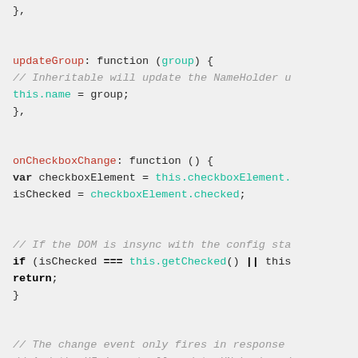Code snippet showing JavaScript object methods: updateGroup and onCheckboxChange